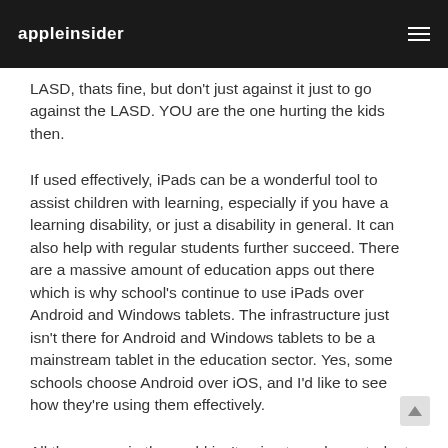appleinsider
LASD, thats fine, but don't just against it just to go against the LASD. YOU are the one hurting the kids then.
If used effectively, iPads can be a wonderful tool to assist children with learning, especially if you have a learning disability, or just a disability in general. It can also help with regular students further succeed. There are a massive amount of education apps out there which is why school's continue to use iPads over Android and Windows tablets. The infrastructure just isn't there for Android and Windows tablets to be a mainstream tablet in the education sector. Yes, some schools choose Android over iOS, and I'd like to see how they're using them effectively.
All the money in the world isn't going to make a student with a learning disability a better student, but if they could have something thats interactive and fun you can bet the farm that they'll learn a lot better. Just being able to use an electronic